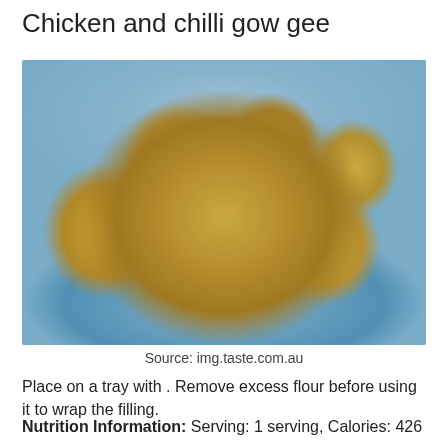Chicken and chilli gow gee
[Figure (photo): Photo of chicken and chilli gow gee dumplings arranged on a blue ceramic plate, with chopsticks visible in the background.]
Source: img.taste.com.au
Place on a tray with . Remove excess flour before using it to wrap the filling.
Nutrition Information: Serving: 1 serving, Calories: 426